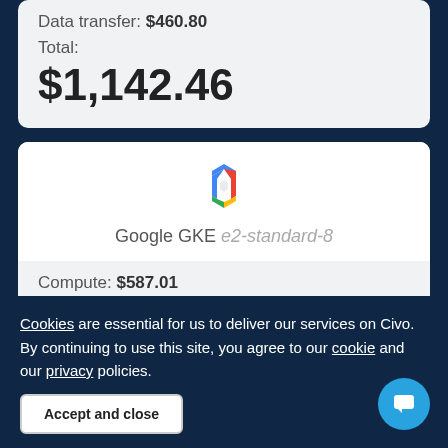Data transfer: $460.80
Total:
$1,142.46
[Figure (logo): Google Cloud hexagonal logo in blue, red, yellow, and green colors]
Google GKE e2-standard-8
Compute: $587.01
Storage: $24.00
Cookies are essential for us to deliver our services on Civo. By continuing to use this site, you agree to our cookie and our privacy policies.
Accept and close